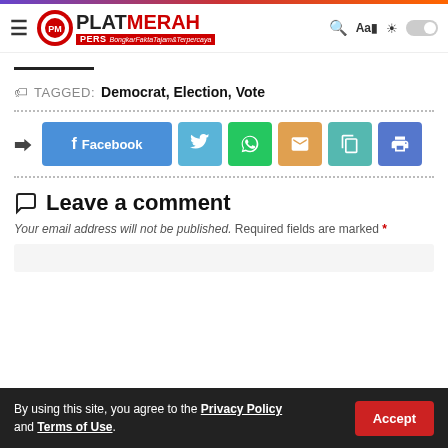PLATMERAH PERS - BongkarFaktaTajam&Terpercaya
TAGGED: Democrat, Election, Vote
[Figure (infographic): Social share buttons row: Facebook, Twitter, WhatsApp, Email, Copy, Print]
Leave a comment
Your email address will not be published. Required fields are marked *
By using this site, you agree to the Privacy Policy and Terms of Use.